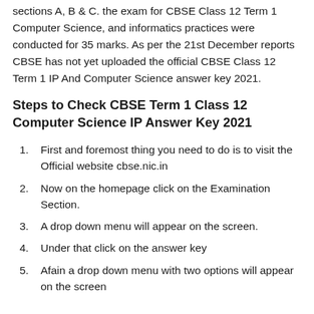sections A, B & C. the exam for CBSE Class 12 Term 1 Computer Science, and informatics practices were conducted for 35 marks. As per the 21st December reports CBSE has not yet uploaded the official CBSE Class 12 Term 1 IP And Computer Science answer key 2021.
Steps to Check CBSE Term 1 Class 12 Computer Science IP Answer Key 2021
First and foremost thing you need to do is to visit the Official website cbse.nic.in
Now on the homepage click on the Examination Section.
A drop down menu will appear on the screen.
Under that click on the answer key
Afain a drop down menu with two options will appear on the screen